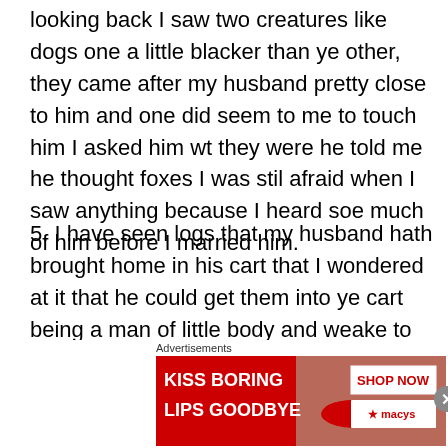looking back I saw two creatures like dogs one a little blacker than ye other, they came after my husband pretty close to him and one did seem to me to touch him I asked him wt they were he told me he thought foxes I was stil afraid when I saw anything because I heard soe much of him before I married him.
5. I have seen logs that my husband hath brought home in his cart that I wondered at it that he could get them into ye cart being a man of little body and weake to my apprhension and ye logs were such that I thought two men such as he could not have done it.  I speak all this out of love to my husbands soule and it is much against my will that I am now necessitate to speake agaynst my husband
[Figure (other): Advertisement banner: Macy's lip product ad. Text reads 'KISS BORING LIPS GOODBYE' with 'SHOP NOW' button and Macy's logo with star.]